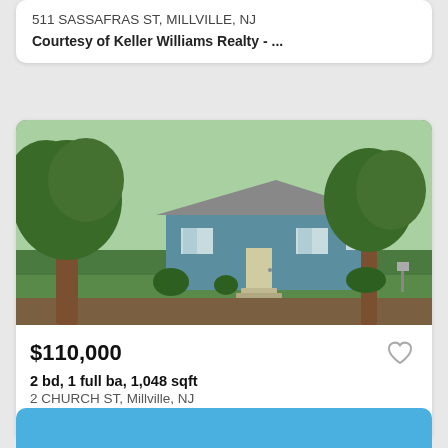511 SASSAFRAS ST, MILLVILLE, NJ
Courtesy of Keller Williams Realty - ...
[Figure (photo): Exterior photo of a blue ranch-style house with large trees in the foreground and a green lawn, sunny day]
$110,000
2 bd, 1 full ba, 1,048 sqft
2 CHURCH ST, Millville, NJ
Courtesy of Ackerman Spinelli Realt...